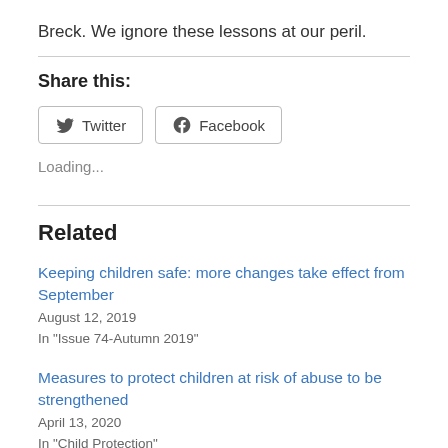Breck.  We ignore these lessons at our peril.
Share this:
[Figure (other): Share buttons for Twitter and Facebook]
Loading...
Related
Keeping children safe: more changes take effect from September
August 12, 2019
In "Issue 74-Autumn 2019"
Measures to protect children at risk of abuse to be strengthened
April 13, 2020
In "Child Protection"